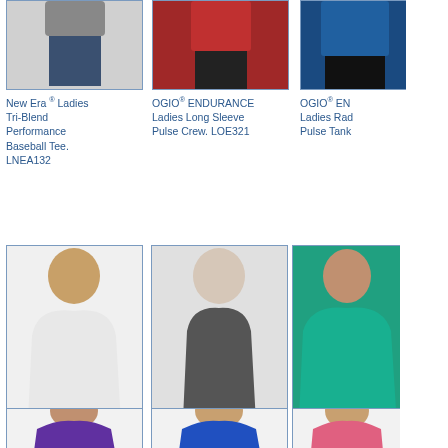[Figure (photo): Partial top row of product images: New Era Ladies Tri-Blend Performance Baseball Tee, OGIO ENDURANCE Ladies Long Sleeve Pulse Crew, OGIO ENDURANCE Ladies Racerback Pulse Tank (partially visible)]
New Era ® Ladies Tri-Blend Performance Baseball Tee. LNEA132
OGIO® ENDURANCE Ladies Long Sleeve Pulse Crew. LOE321
OGIO® ENDURANCE Ladies Racerback Pulse Tank (partially visible)
[Figure (photo): OGIO Ladies Jewel Henley LOG104]
OGIO ® Ladies Jewel Henley LOG104
[Figure (photo): OGIO Ladies Luuma Tank LOG801]
OGIO ® Ladies Luuma Tank. LOG801
[Figure (photo): OGIO Ladies Luuma Long Sleeve Tunic (partially visible)]
OGIO ® Ladies Luuma Long Sleeve Tunic. LOG (partially visible)
[Figure (photo): Bottom row partial product images: purple v-neck tee, blue crew tee, pink tank]
Bottom row product images (partially visible)